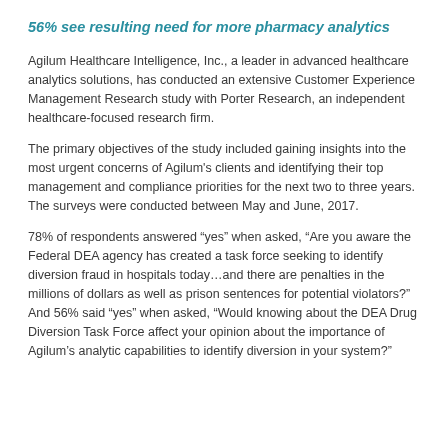56% see resulting need for more pharmacy analytics
Agilum Healthcare Intelligence, Inc., a leader in advanced healthcare analytics solutions, has conducted an extensive Customer Experience Management Research study with Porter Research, an independent healthcare-focused research firm.
The primary objectives of the study included gaining insights into the most urgent concerns of Agilum's clients and identifying their top management and compliance priorities for the next two to three years. The surveys were conducted between May and June, 2017.
78% of respondents answered "yes" when asked, "Are you aware the Federal DEA agency has created a task force seeking to identify diversion fraud in hospitals today...and there are penalties in the millions of dollars as well as prison sentences for potential violators?" And 56% said "yes" when asked, "Would knowing about the DEA Drug Diversion Task Force affect your opinion about the importance of Agilum's analytic capabilities to identify diversion in your system?"